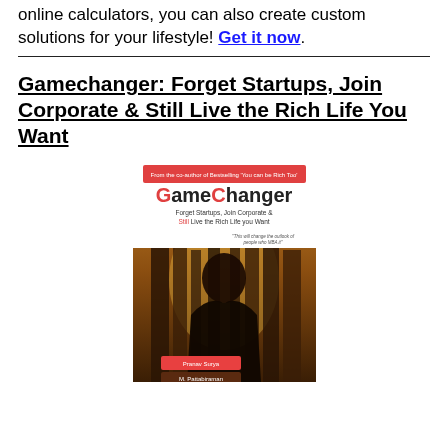online calculators, you can also create custom solutions for your lifestyle! Get it now.
Gamechanger: Forget Startups, Join Corporate & Still Live the Rich Life You Want
[Figure (photo): Book cover of 'GameChanger: Forget Startups, Join Corporate & Still Live the Rich Life you Want' by Pranav Surya and M. Pattabiraman. Features a red banner at top, bold GameChanger title with G and C in red, subtitle text, a quote, and a silhouette of a person against illuminated corporate buildings.]